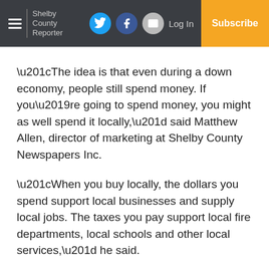Shelby County Reporter | Log In | Subscribe
“The idea is that even during a down economy, people still spend money. If you’re going to spend money, you might as well spend it locally,” said Matthew Allen, director of marketing at Shelby County Newspapers Inc.
“When you buy locally, the dollars you spend support local businesses and supply local jobs. The taxes you pay support local fire departments, local schools and other local services,” he said.